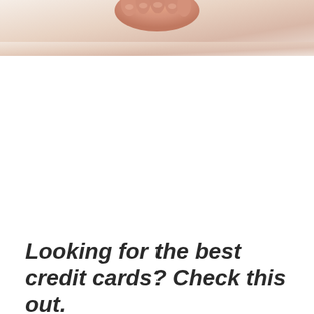[Figure (photo): A close-up photo of a hand holding or touching something, shown from above with a light cream and peach background. Only the top portion of the hand/fingers is visible at the top of the page.]
Looking for the best credit cards? Check this out.
Compare them and apply for the best credit cards for shopping, travel, dining, rewards and more.